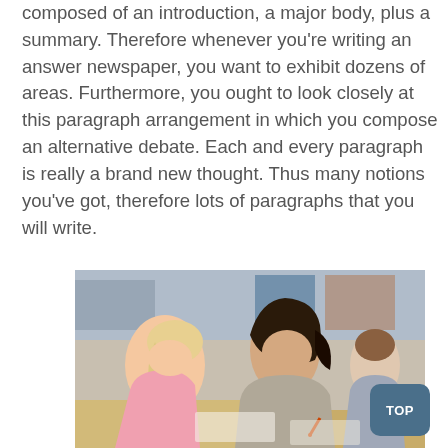composed of an introduction, a major body, plus a summary. Therefore whenever you're writing an answer newspaper, you want to exhibit dozens of areas. Furthermore, you ought to look closely at this paragraph arrangement in which you compose an alternative debate. Each and every paragraph is really a brand new thought. Thus many notions you've got, therefore lots of paragraphs that you will write.
[Figure (photo): Students writing at desks in a classroom exam setting. A blonde female student on the left and a dark-haired female student in the center are writing with pens, with another student visible in the background.]